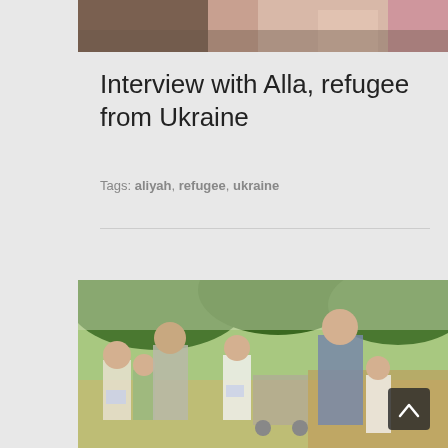[Figure (photo): Partial top image showing people, cropped at top of page]
Interview with Alla, refugee from Ukraine
Tags: aliyah, refugee, ukraine
[Figure (photo): Family photo outdoors under trees: woman with sunglasses, man in checkered shirt, and four children, one in a stroller, holding books/pamphlets. A scroll-to-top button with chevron is overlaid in bottom right.]